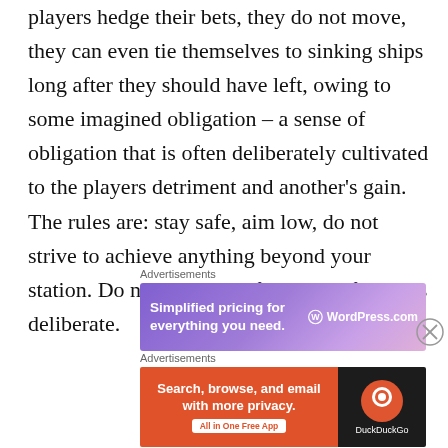players hedge their bets, they do not move, they can even tie themselves to sinking ships long after they should have left, owing to some imagined obligation – a sense of obligation that is often deliberately cultivated to the players detriment and another's gain. The rules are: stay safe, aim low, do not strive to achieve anything beyond your station. Do not will more for yourself. This is deliberate.
[Figure (other): WordPress.com advertisement banner: 'Simplified pricing for everything you need.' with WordPress logo and WordPress.com text on purple gradient background]
[Figure (other): DuckDuckGo advertisement banner: 'Search, browse, and email with more privacy. All in One Free App' on orange background with DuckDuckGo logo on dark right panel]